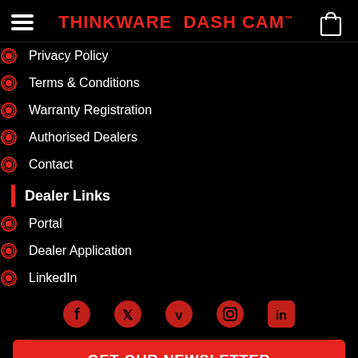THINKWARE DASH CAM™
Privacy Policy
Terms & Conditions
Warranty Registration
Authorised Dealers
Contact
Dealer Links
Portal
Dealer Application
LinkedIn
[Figure (infographic): Social media icons row: Facebook, Twitter, Vimeo, Instagram, LinkedIn — all in red]
GET OUR NEWSLETTER
© 2022 Thinkware Dash Cam UK